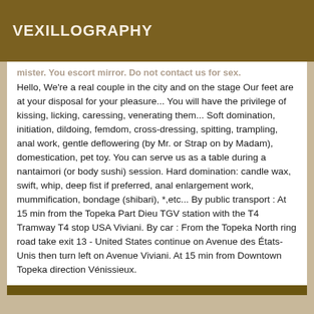VEXILLOGRAPHY
Hello, We're a real couple in the city and on the stage Our feet are at your disposal for your pleasure... You will have the privilege of kissing, licking, caressing, venerating them... Soft domination, initiation, dildoing, femdom, cross-dressing, spitting, trampling, anal work, gentle deflowering (by Mr. or Strap on by Madam), domestication, pet toy. You can serve us as a table during a nantaimori (or body sushi) session. Hard domination: candle wax, swift, whip, deep fist if preferred, anal enlargement work, mummification, bondage (shibari), *,etc... By public transport : At 15 min from the Topeka Part Dieu TGV station with the T4 Tramway T4 stop USA Viviani. By car : From the Topeka North ring road take exit 13 - United States continue on Avenue des États-Unis then turn left on Avenue Viviani. At 15 min from Downtown Topeka direction Vénissieux.